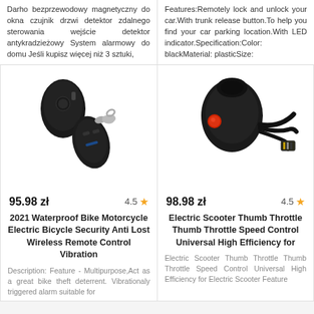Darho bezprzewodowy magnetyczny do okna czujnik drzwi detektor zdalnego sterowania wejście detektor antykradzieżowy System alarmowy do domu Jeśli kupisz więcej niż 3 sztuki,
Features:Remotely lock and unlock your car.With trunk release button.To help you find your car parking location.With LED indicator.Specification:Color: blackMaterial: plasticSize:
[Figure (photo): Black wireless alarm keyfob/remote and a black pebble-shaped alarm unit with a clip, shown on white background]
95.98 zł
4.5 ★
2021 Waterproof Bike Motorcycle Electric Bicycle Security Anti Lost Wireless Remote Control Vibration
Description: Feature - Multipurpose,Act as a great bike theft deterrent. Vibrationaly triggered alarm suitable for
[Figure (photo): Black electric scooter thumb throttle speed controller with red button and wiring, shown on white background]
98.98 zł
4.5 ★
Electric Scooter Thumb Throttle Thumb Throttle Speed Control Universal High Efficiency for
Electric Scooter Thumb Throttle Thumb Throttle Speed Control Universal High Efficiency for Electric Scooter Feature